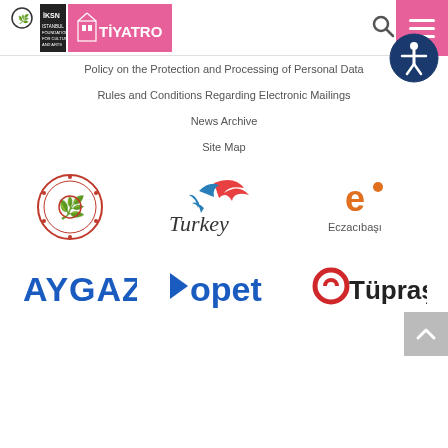İKSN Tiyatro — Istanbul Foundation for Culture and Arts
Policy on the Protection and Processing of Personal Data
Rules and Conditions Regarding Electronic Mailings
News Archive
Site Map
[Figure (logo): Turkish Ministry logo (red circular seal)]
[Figure (logo): Turkey tourism logo with stylized bird and text 'Turkey']
[Figure (logo): Eczacıbaşı logo — orange 'e' and text Eczacıbaşı]
[Figure (logo): AYGAZ logo — blue bold text]
[Figure (logo): OPET logo — blue text with arrow]
[Figure (logo): Tüpraş logo — red circle with text Tüpraş]